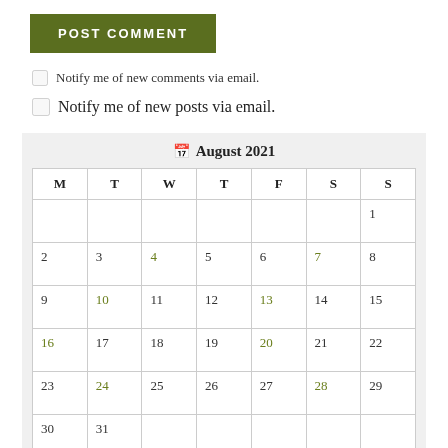POST COMMENT
Notify me of new comments via email.
Notify me of new posts via email.
| M | T | W | T | F | S | S |
| --- | --- | --- | --- | --- | --- | --- |
|  |  |  |  |  |  | 1 |
| 2 | 3 | 4 | 5 | 6 | 7 | 8 |
| 9 | 10 | 11 | 12 | 13 | 14 | 15 |
| 16 | 17 | 18 | 19 | 20 | 21 | 22 |
| 23 | 24 | 25 | 26 | 27 | 28 | 29 |
| 30 | 31 |  |  |  |  |  |